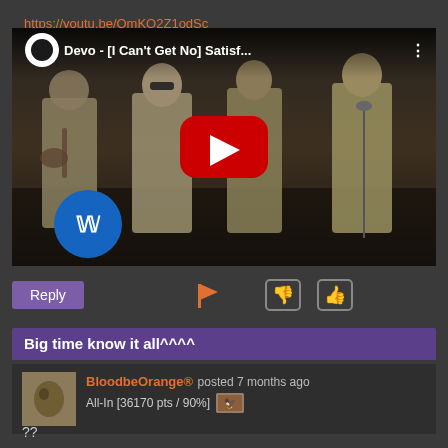https://youtu.be/QmKQ2Z1odSc
[Figure (screenshot): YouTube video thumbnail for 'Devo - [I Can't Get No] Satisf...' showing band members in khaki jumpsuits on stage, with YouTube play button overlay and Warner Music logo]
Reply
??
Big time know it all^^^^
BloodbeOrange® posted 7 months ago
All-In [36170 pts / 90%]
??